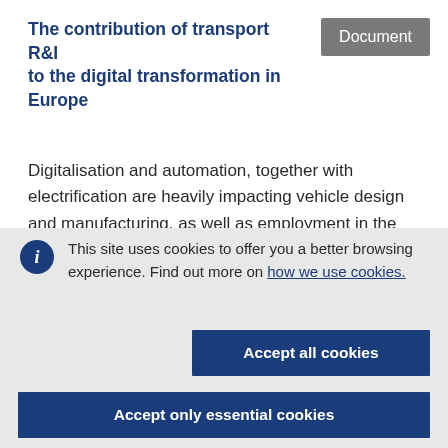The contribution of transport R&I to the digital transformation in Europe
Document
Digitalisation and automation, together with electrification are heavily impacting vehicle design and manufacturing, as well as employment in the
This site uses cookies to offer you a better browsing experience. Find out more on how we use cookies.
Accept all cookies
Accept only essential cookies